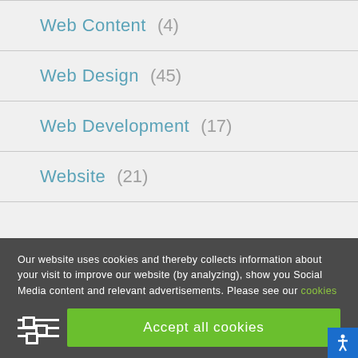Web Content (4)
Web Design (45)
Web Development (17)
Website (21)
Our website uses cookies and thereby collects information about your visit to improve our website (by analyzing), show you Social Media content and relevant advertisements. Please see our cookies page for furher details or agree by clicking the 'Accept' button.
Accept all cookies